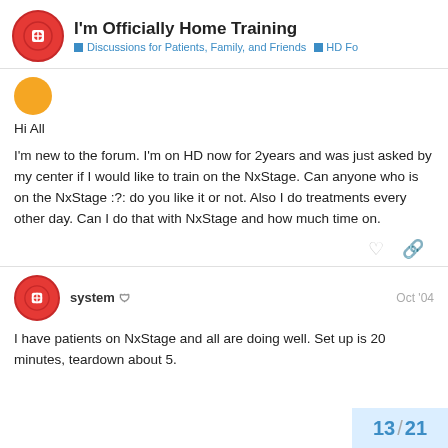I'm Officially Home Training — Discussions for Patients, Family, and Friends ▪ HD Fo
[Figure (logo): Yellow circle user avatar for first poster]
Hi All
I'm new to the forum. I'm on HD now for 2years and was just asked by my center if I would like to train on the NxStage. Can anyone who is on the NxStage :?: do you like it or not. Also I do treatments every other day. Can I do that with NxStage and how much time on.
system Oct '04
I have patients on NxStage and all are doing well. Set up is 20 minutes, teardown about 5.
13 / 21